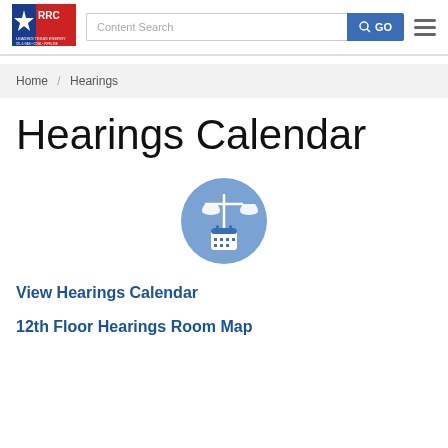[Figure (logo): RRC Leading Texas Energy logo with Texas flag star design]
Content Search
GO
Home / Hearings
Hearings Calendar
[Figure (illustration): Circle icon with scales of justice and a calendar, blue background]
View Hearings Calendar
12th Floor Hearings Room Map